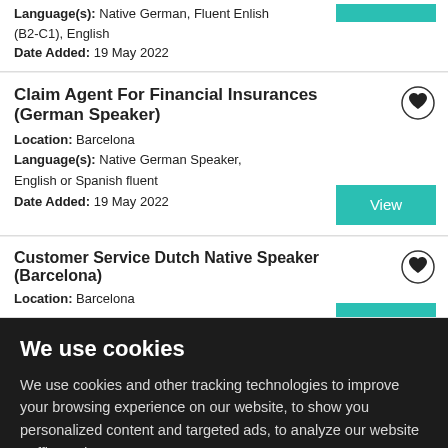Language(s): Native German, Fluent Enlish (B2-C1), English
Date Added: 19 May 2022
Claim Agent For Financial Insurances (German Speaker)
Location: Barcelona
Language(s): Native German Speaker, English or Spanish fluent
Date Added: 19 May 2022
Customer Service Dutch Native Speaker (Barcelona)
Location: Barcelona
We use cookies
We use cookies and other tracking technologies to improve your browsing experience on our website, to show you personalized content and targeted ads, to analyze our website traffic, and